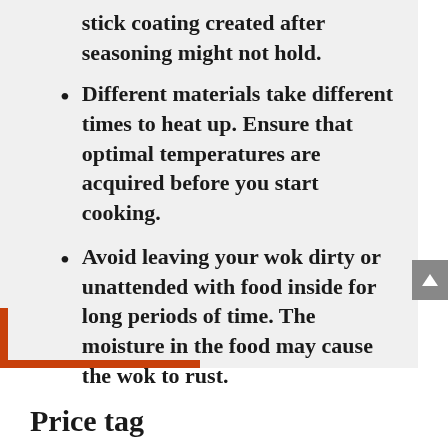stick coating created after seasoning might not hold.
Different materials take different times to heat up. Ensure that optimal temperatures are acquired before you start cooking.
Avoid leaving your wok dirty or unattended with food inside for long periods of time. The moisture in the food may cause the wok to rust.
Price tag